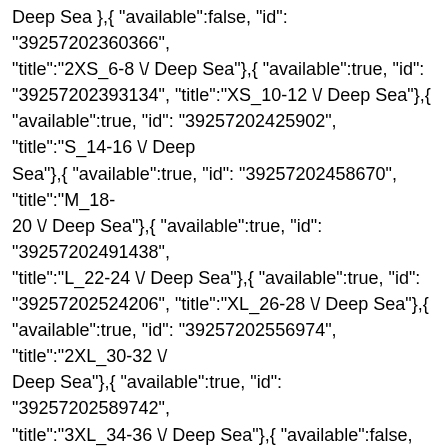Deep Sea },{ "available":false, "id": "39257202360366", "title":"2XS_6-8 \/ Deep Sea"},{  "available":true, "id": "39257202393134", "title":"XS_10-12 \/ Deep Sea"},{ "available":true, "id": "39257202425902", "title":"S_14-16 \/ Deep Sea"},{ "available":true, "id": "39257202458670", "title":"M_18-20 \/ Deep Sea"},{ "available":true, "id": "39257202491438", "title":"L_22-24 \/ Deep Sea"},{ "available":true, "id": "39257202524206", "title":"XL_26-28 \/ Deep Sea"},{ "available":true, "id": "39257202556974", "title":"2XL_30-32 \/ Deep Sea"},{ "available":true, "id": "39257202589742", "title":"3XL_34-36 \/ Deep Sea"},{ "available":false, "id": "39257202622510", "title":"4XL_38-40 \/ Deep Sea"}] },{ "id": "4655265120302", "title":"Fiona Open Side Sweatshirt - Black", "handle":"fiona-open-side-sweatshirt-black", "price": "$94", "comparePrice": "$94", "images": [{ "src":"\/\/cdn.shopify.com\/s\/files\/1\/0838\/4441\/products\/Fiona_C v=1642537089", "aspectRatio": "0.80004300150505270" },{ "src":"\/\/cdn.shopify.com\/s\/files\/1\/0838\/4441\/products\/Fiona_C v=1642537089", "aspectRatio": "0.79991430101970866" },{ "src":"\/\/cdn.shopify.com\/s\/files\/1\/0838\/4441\/products\/USTO0 BLACK-1.jpg?v=1642537089", "aspectRatio": "0.8" },{ "src":"\/\/cdn.shopify.com\/s\/files\/1\/0838\/4441\/products\/Fiona_C v=1642537085", "aspectRatio": "0.79999570723331187" },{ "src":"\/\/cdn.shopify.com\/s\/files\/1\/0838\/4441\/products\/Fiona_C v=1642537087", "aspectRatio": "0.80004300150505270" }], "url": "//products/fiona-open-side-sweatshirt-black" "alt":""